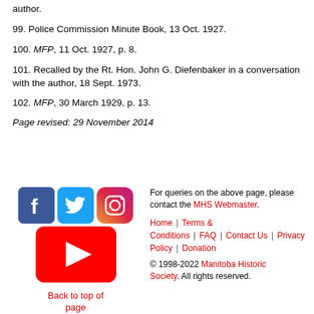author.
99. Police Commission Minute Book, 13 Oct. 1927.
100. MFP, 11 Oct. 1927, p. 8.
101. Recalled by the Rt. Hon. John G. Diefenbaker in a conversation with the author, 18 Sept. 1973.
102. MFP, 30 March 1929, p. 13.
Page revised: 29 November 2014
[Figure (logo): Social media icons: Facebook, Twitter, Instagram, YouTube]
Back to top of page
For queries on the above page, please contact the MHS Webmaster.
Home | Terms & Conditions | FAQ | Contact Us | Privacy Policy | Donations
© 1998-2022 Manitoba Historic Society. All rights reserved.